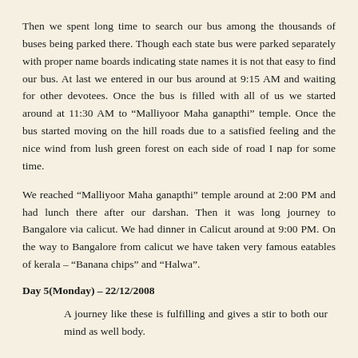Then we spent long time to search our bus among the thousands of buses being parked there. Though each state bus were parked separately with proper name boards indicating state names it is not that easy to find our bus. At last we entered in our bus around at 9:15 AM and waiting for other devotees. Once the bus is filled with all of us we started around at 11:30 AM to “Malliyoor Maha ganapthi” temple. Once the bus started moving on the hill roads due to a satisfied feeling and the nice wind from lush green forest on each side of road I nap for some time.
We reached “Malliyoor Maha ganapthi” temple around at 2:00 PM and had lunch there after our darshan. Then it was long journey to Bangalore via calicut. We had dinner in Calicut around at 9:00 PM. On the way to Bangalore from calicut we have taken very famous eatables of kerala – “Banana chips” and “Halwa”.
Day 5(Monday) – 22/12/2008
A journey like these is fulfilling and gives a stir to both our mind as well body.